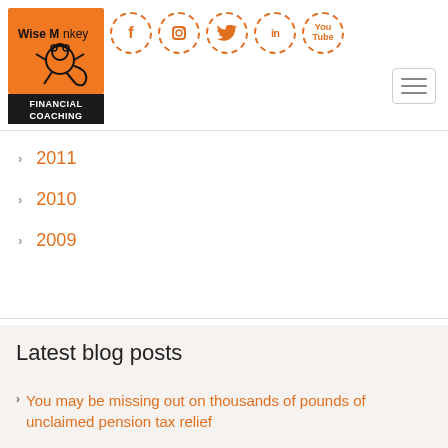[Figure (logo): Wise Monkey Financial Coaching logo - orange square with monkey illustration and black bar with white text 'FINANCIAL COACHING']
[Figure (infographic): Social media icons in dashed orange circles: Facebook (f), Instagram (camera), Twitter (bird), LinkedIn (in), YouTube (You Tube)]
[Figure (infographic): Hamburger menu button (three horizontal lines) in a rounded rectangle]
2011
2010
2009
Latest blog posts
You may be missing out on thousands of pounds of unclaimed pension tax relief